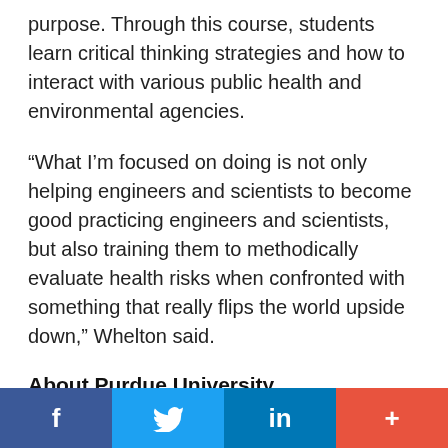purpose. Through this course, students learn critical thinking strategies and how to interact with various public health and environmental agencies.
“What I’m focused on doing is not only helping engineers and scientists to become good practicing engineers and scientists, but also training them to methodically evaluate health risks when confronted with something that really flips the world upside down,” Whelton said.
About Purdue University
Purdue University is a top public research institution developing practical solutions to today’s toughest
f  ‹bird›  in  +